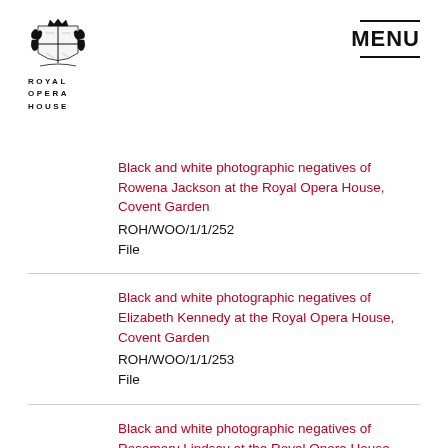[Figure (logo): Royal Opera House coat of arms emblem with ROYAL OPERA HOUSE text below]
MENU
Black and white photographic negatives of Rowena Jackson at the Royal Opera House, Covent Garden
ROH/WOO/1/1/252
File
Black and white photographic negatives of Elizabeth Kennedy at the Royal Opera House, Covent Garden
ROH/WOO/1/1/253
File
Black and white photographic negatives of Rosemary Lindsay at the Royal Opera House,